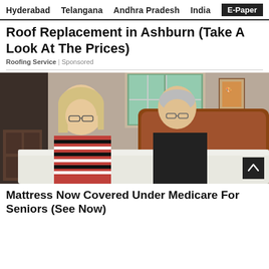Hyderabad   Telangana   Andhra Pradesh   India   E-Paper
Roof Replacement in Ashburn (Take A Look At The Prices)
Roofing Service | Sponsored
[Figure (photo): An older couple in a bedroom leaning over a white mattress on a wooden bed frame. A woman with blonde hair wearing a striped top stands on the left, and a man in a dark shirt stands on the right. There is a window and a wardrobe in the background.]
Mattress Now Covered Under Medicare For Seniors (See Now)